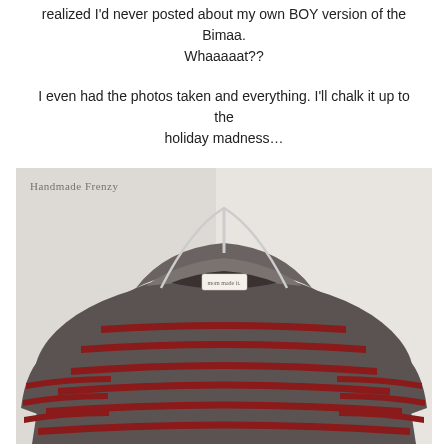realized I'd never posted about my own BOY version of the Bimaa. Whaaaaat??
I even had the photos taken and everything. I'll chalk it up to the holiday madness...
[Figure (photo): A gray and red striped hooded pullover sweater hanging on a hanger against a white background, with a 'mom made it' label visible at the collar. Watermark reads 'Handmade Frenzy'.]